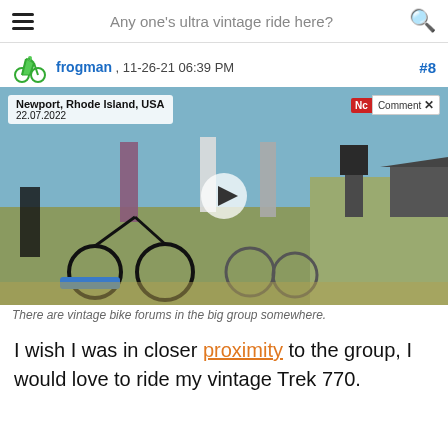Any one's ultra vintage ride here?
frogman , 11-26-21 06:39 PM  #8
[Figure (photo): Video thumbnail showing a group of cyclists on folding/vintage bicycles at an outdoor event in Newport, Rhode Island, USA on 22.07.2022. A play button overlay is visible in the center. NcComment badge in top right corner.]
There are vintage bike forums in the big group somewhere.
I wish I was in closer proximity to the group, I would love to ride my vintage Trek 770.